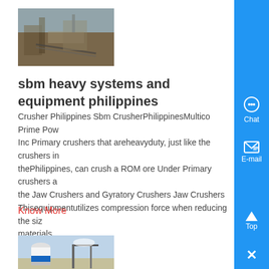[Figure (photo): Aerial/overhead view of a mining or crushing plant with conveyor belts and heavy machinery]
sbm heavy systems and equipment philippines
Crusher Philippines Sbm CrusherPhilippinesMultico Prime Power Inc Primary crushers that areheavyduty, just like the crushers in thePhilippines, can crush a ROM ore Under Primary crushers are the Jaw Crushers and Gyratory Crushers Jaw Crushers Thisequipmentutilizes compression force when reducing the size of materials...
Know More
[Figure (photo): Industrial silo or cement mixing plant with blue and white coloring]